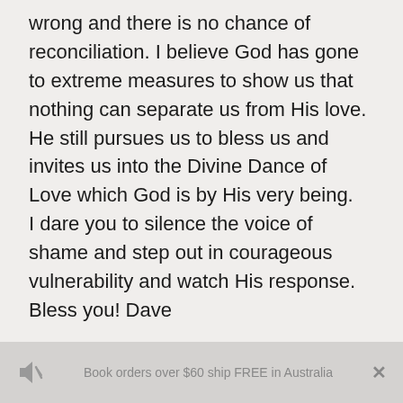wrong and there is no chance of reconciliation. I believe God has gone to extreme measures to show us that nothing can separate us from His love. He still pursues us to bless us and invites us into the Divine Dance of Love which God is by His very being.
I dare you to silence the voice of shame and step out in courageous vulnerability and watch His response.
Bless you! Dave
Book orders over $60 ship FREE in Australia